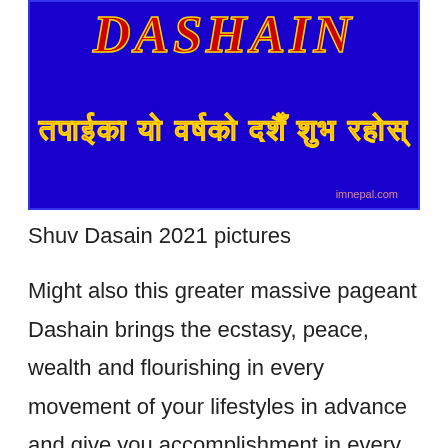[Figure (illustration): Blue background image with the word DASHAIN in red and gold decorative text at top, and Nepali script text below in orange/gold reading a Dashain blessing. Attribution 'imnepal.com' in bottom right corner.]
Shuv Dasain 2021 pictures
Might also this greater massive pageant Dashain brings the ecstasy, peace, wealth and flourishing in every movement of your lifestyles in advance and give you accomplishment in every motion of your